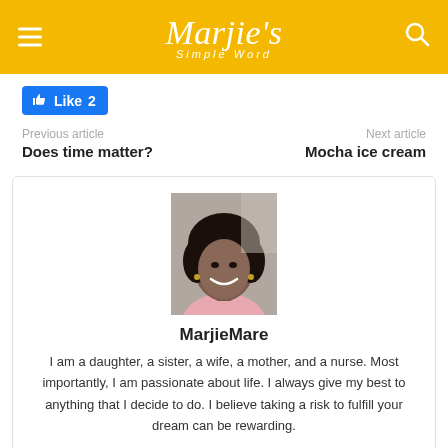Marjie's Simple Word
[Figure (other): Facebook Like button showing thumbs up icon and Like 2]
Previous article
Next article
Does time matter?
Mocha ice cream
[Figure (photo): Author profile photo of MarjieMare, a Black woman with natural curly hair, smiling, wearing a pink top]
MarjieMare
I am a daughter, a sister, a wife, a mother, and a nurse. Most importantly, I am passionate about life. I always give my best to anything that I decide to do. I believe taking a risk to fulfill your dream can be rewarding.